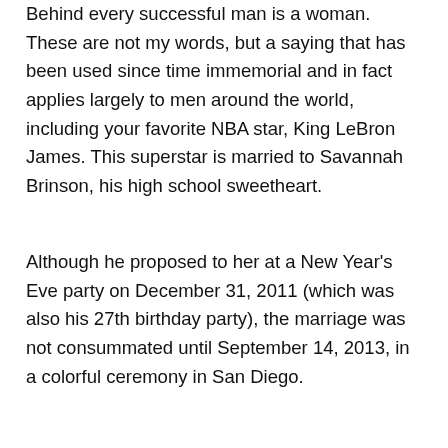Behind every successful man is a woman. These are not my words, but a saying that has been used since time immemorial and in fact applies largely to men around the world, including your favorite NBA star, King LeBron James. This superstar is married to Savannah Brinson, his high school sweetheart.
Although he proposed to her at a New Year's Eve party on December 31, 2011 (which was also his 27th birthday party), the marriage was not consummated until September 14, 2013, in a colorful ceremony in San Diego.